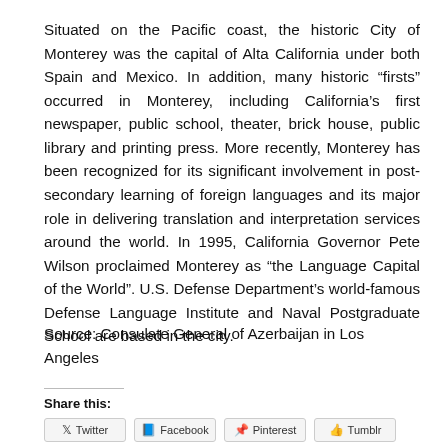Situated on the Pacific coast, the historic City of Monterey was the capital of Alta California under both Spain and Mexico. In addition, many historic “firsts” occurred in Monterey, including California’s first newspaper, public school, theater, brick house, public library and printing press. More recently, Monterey has been recognized for its significant involvement in post-secondary learning of foreign languages and its major role in delivering translation and interpretation services around the world. In 1995, California Governor Pete Wilson proclaimed Monterey as “the Language Capital of the World”. U.S. Defense Department’s world-famous Defense Language Institute and Naval Postgraduate School are based in the city.
Source: Consulate General of Azerbaijan in Los Angeles
Share this: